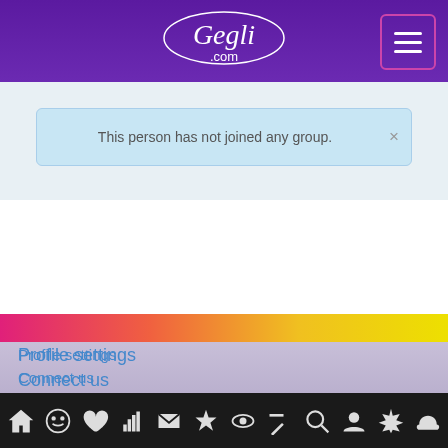[Figure (screenshot): Gegli.com website header with logo and hamburger menu button on purple background]
This person has not joined any group.
Profile settings
Connect us
Privacy
Terms
About us
Gegli Research Center
Introduce Gegli to your friends
Gegli News
[Figure (screenshot): Bottom navigation bar with icons: home, smiley face, heart, thumbs up, envelope, star, eye, edit/pencil, search, person, burst/star, cloud]